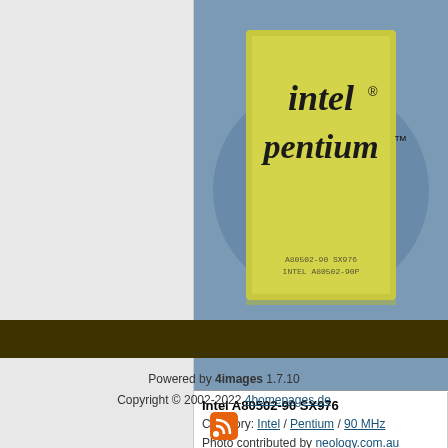[Figure (photo): Close-up photo of an Intel Pentium processor chip with gold ceramic package on blue substrate. The gold square shows 'intel' and 'pentium' branding with trademark symbols.]
Intel A80502-90 SX976
Category: Intel / Pentium / 90 MHz
Photo contributed by neology.com.au
Powered by 4images 1.7.10
Copyright © 2002-2022 4homepages.de